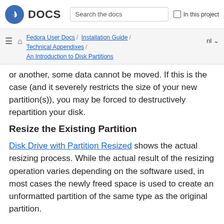Fedora DOCS | Search the docs | In this project
Fedora User Docs / Installation Guide / Technical Appendixes / An Introduction to Disk Partitions | nl
or another, some data cannot be moved. If this is the case (and it severely restricts the size of your new partition(s)), you may be forced to destructively repartition your disk.
Resize the Existing Partition
Disk Drive with Partition Resized shows the actual resizing process. While the actual result of the resizing operation varies depending on the software used, in most cases the newly freed space is used to create an unformatted partition of the same type as the original partition.